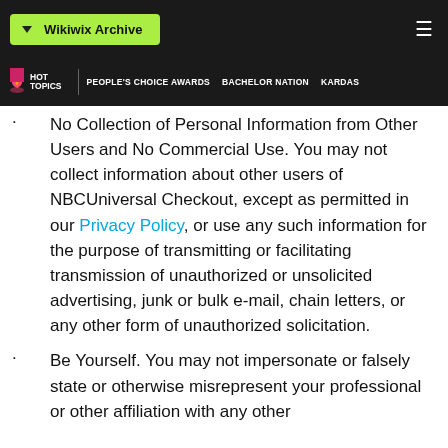Wikiwix Archive
HOT TOPICS | PEOPLE'S CHOICE AWARDS | BACHELOR NATION | KARDAS
No Collection of Personal Information from Other Users and No Commercial Use. You may not collect information about other users of NBCUniversal Checkout, except as permitted in our Privacy Policy, or use any such information for the purpose of transmitting or facilitating transmission of unauthorized or unsolicited advertising, junk or bulk e-mail, chain letters, or any other form of unauthorized solicitation.
Be Yourself. You may not impersonate or falsely state or otherwise misrepresent your professional or other affiliation with any other